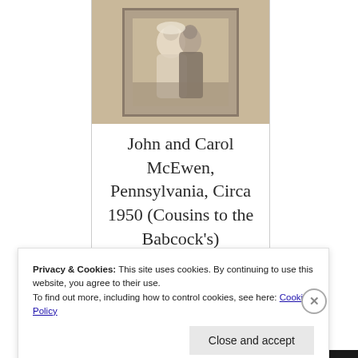[Figure (photo): Old framed photograph of John and Carol McEwen, circa 1950, showing a couple in formal attire, mounted on a tan/beige background]
John and Carol McEwen, Pennsylvania, Circa 1950 (Cousins to the Babcock's)
Privacy & Cookies: This site uses cookies. By continuing to use this website, you agree to their use.
To find out more, including how to control cookies, see here: Cookie Policy